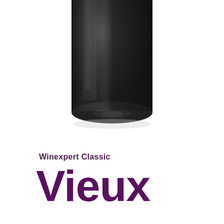[Figure (photo): Bottom portion of a dark wine bottle with a rounded base, dark glass, and a partially visible purple/magenta label at the top edge. The bottle is photographed against a white background.]
Winexpert Classic
Vieux